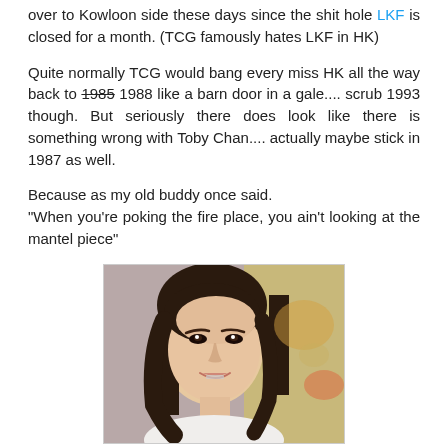over to Kowloon side these days since the shit hole LKF is closed for a month. (TCG famously hates LKF in HK)
Quite normally TCG would bang every miss HK all the way back to 1985 1988 like a barn door in a gale.... scrub 1993 though. But seriously there does look like there is something wrong with Toby Chan.... actually maybe stick in 1987 as well.
Because as my old buddy once said.
"When you're poking the fire place, you ain't looking at the mantel piece"
[Figure (photo): Portrait photo of a young Asian woman with long dark hair, smiling, with a blurred golden background]